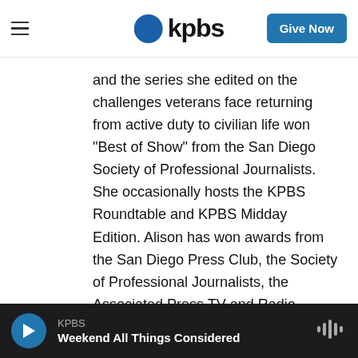KPBS | Give Now
and the series she edited on the challenges veterans face returning from active duty to civilian life won “Best of Show” from the San Diego Society of Professional Journalists. She occasionally hosts the KPBS Roundtable and KPBS Midday Edition. Alison has won awards from the San Diego Press Club, the Society of Professional Journalists, the Associated Press TV and Radio Association, and the California Golden Mike Awards. Alison was born in Tanzania, brought up in Scotland, and earned her degree in psychology and sociology from Durham University in England. Her next student dish-
KPBS | Weekend All Things Considered